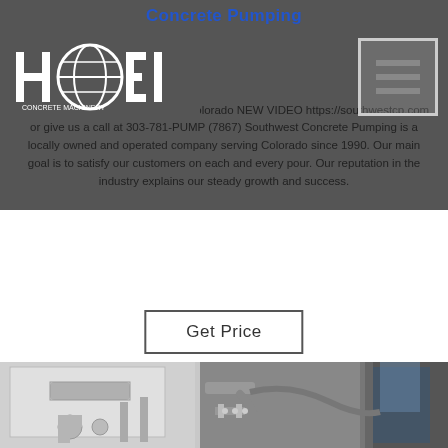Concrete Pumping
About Concrete Pumping Deven Colorado NEW VIDEO https://southwestcp.com or give us a call at 303-781-PUMP (7867) Southwest Concrete Pumping is a locally owned and operated company serving Colorado since 1990. Our main goal is to satisfy our customers on each and every pour. Our reputation in the industry explains our steady growth and success.
Get Price
[Figure (photo): Industrial concrete pumping equipment — close-up of metal pipes, hoses, and fittings attached to machinery in a warehouse/industrial setting. Black and white/grayscale photo.]